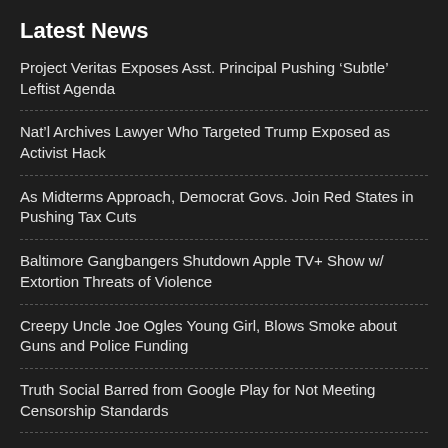Latest News
Project Veritas Exposes Asst. Principal Pushing ‘Subtle’ Leftist Agenda
Nat’l Archives Lawyer Who Targeted Trump Exposed as Activist Hack
As Midterms Approach, Democrat Govs. Join Red States in Pushing Tax Cuts
Baltimore Gangbangers Shutdown Apple TV+ Show w/ Extortion Threats of Violence
Creepy Uncle Joe Ogles Young Girl, Blows Smoke about Guns and Police Funding
Truth Social Barred from Google Play for Not Meeting Censorship Standards
Trump Tells Rank-and-File FBI Agents to Resist Corrupt Leadership